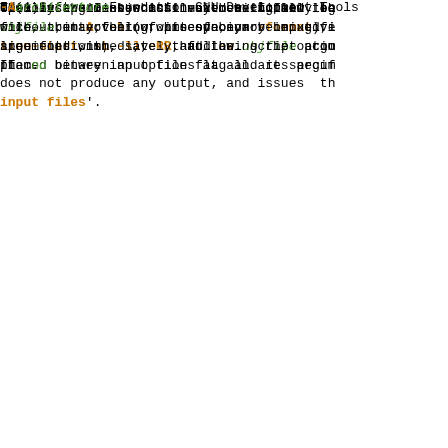tion.

The  exceptions--which  may meaningfully be
once--are -A, -b (or its synonym -format),
tion-start, -L, -l, -R, and -u.

The  list  of object files to be linked tog
objfile, may follow, precede, or be mixed i
line  options;  save  that  an objfile argu
placed between an option flag and its argum

Usually the linker is invoked with  at  lea
file,  but  other  forms of binary input fi
specified with -l, -R, and the  script  com
If  no binary input files at all are specif
does not produce any output, and issues  th
input files'.

Option  arguments  must  either  follow  th
without intervening whitespace, or be  give
arguments  immediately  following the optio
them.
Free Software Foundation
ld(1)                    GNU Development Tools
-Aarchitecture